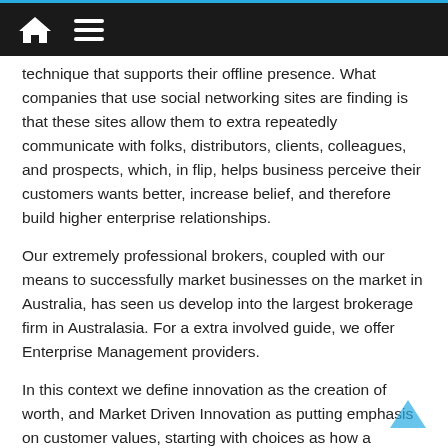technique that supports their offline presence. What companies that use social networking sites are finding is that these sites allow them to extra repeatedly communicate with folks, distributors, clients, colleagues, and prospects, which, in flip, helps business perceive their customers wants better, increase belief, and therefore build higher enterprise relationships.
Our extremely professional brokers, coupled with our means to successfully market businesses on the market in Australia, has seen us develop into the largest brokerage firm in Australasia. For a extra involved guide, we offer Enterprise Management providers.
In this context we define innovation as the creation of worth, and Market Driven Innovation as putting emphasis on customer values, starting with choices as how a enterprise goes to market; to how they place their brand